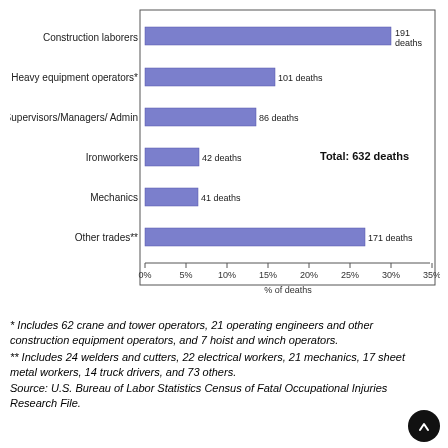[Figure (bar-chart): Construction fatalities by occupation]
* Includes 62 crane and tower operators, 21 operating engineers and other construction equipment operators, and 7 hoist and winch operators.
** Includes 24 welders and cutters, 22 electrical workers, 21 mechanics, 17 sheet metal workers, 14 truck drivers, and 73 others.
Source: U.S. Bureau of Labor Statistics Census of Fatal Occupational Injuries Research File.